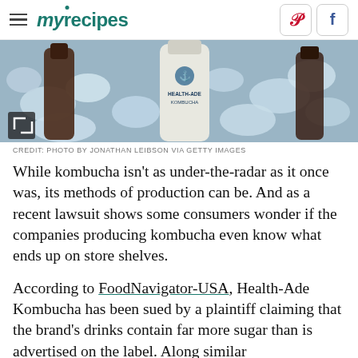myrecipes
[Figure (photo): Health-Ade Kombucha bottle in a bowl of ice]
CREDIT: PHOTO BY JONATHAN LEIBSON VIA GETTY IMAGES
While kombucha isn't as under-the-radar as it once was, its methods of production can be. And as a recent lawsuit shows some consumers wonder if the companies producing kombucha even know what ends up on store shelves.
According to FoodNavigator-USA, Health-Ade Kombucha has been sued by a plaintiff claiming that the brand's drinks contain far more sugar than is advertised on the label. Along similar